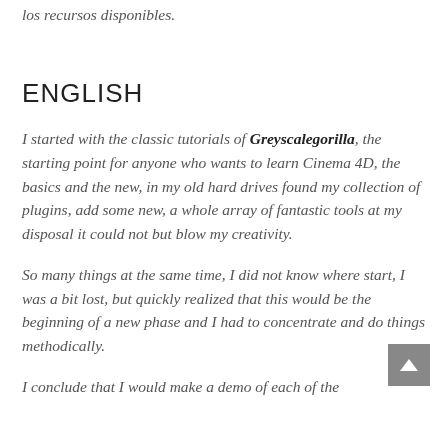los recursos disponibles.
ENGLISH
I started with the classic tutorials of Greyscalegorilla, the starting point for anyone who wants to learn Cinema 4D, the basics and the new, in my old hard drives found my collection of plugins, add some new, a whole array of fantastic tools at my disposal it could not but blow my creativity.
So many things at the same time, I did not know where start, I was a bit lost, but quickly realized that this would be the beginning of a new phase and I had to concentrate and do things methodically.
I conclude that I would make a demo of each of the